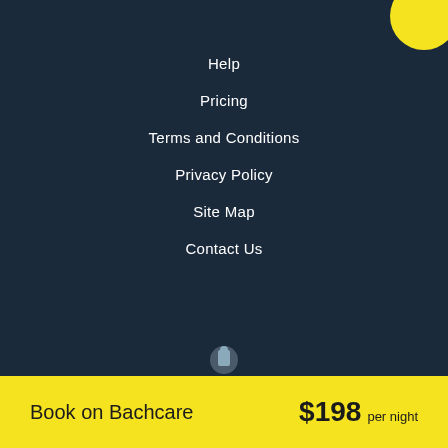Help
Pricing
Terms and Conditions
Privacy Policy
Site Map
Contact Us
[Figure (logo): Holiday Houses logo with house icon and text 'holiday houses' and tagline 'For better places to stay']
[Figure (logo): Trade Me logo with kiwi bird icon and text 'trademe']
© Trade Me Ltd.
Book on Bachcare   $198 per night